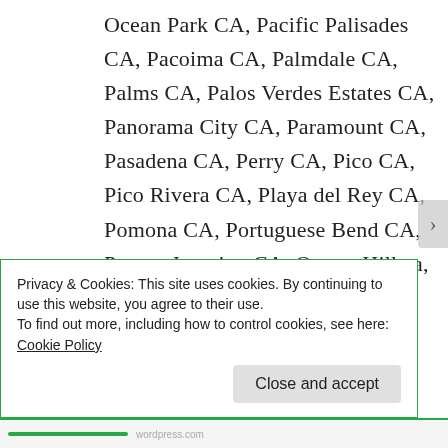Ocean Park CA, Pacific Palisades CA, Pacoima CA, Palmdale CA, Palms CA, Palos Verdes Estates CA, Panorama City CA, Paramount CA, Pasadena CA, Perry CA, Pico CA, Pico Rivera CA, Playa del Rey CA, Pomona CA, Portuguese Bend CA, Puente Junction CA, Quartz Hill ca, Rancho Palos Verdes CA, Raymer CA, Redondo Beach CA,
Privacy & Cookies: This site uses cookies. By continuing to use this website, you agree to their use.
To find out more, including how to control cookies, see here: Cookie Policy